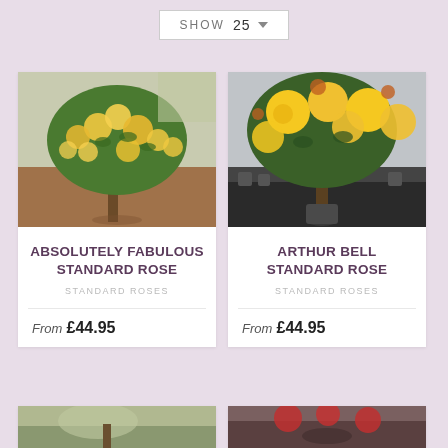SHOW 25
[Figure (photo): Yellow standard rose tree in garden with sandy soil]
ABSOLUTELY FABULOUS STANDARD ROSE
STANDARD ROSES
From £44.95
[Figure (photo): Yellow standard rose tree in nursery with pots]
ARTHUR BELL STANDARD ROSE
STANDARD ROSES
From £44.95
[Figure (photo): Partial view of another rose product card]
[Figure (photo): Partial view of another rose product card]